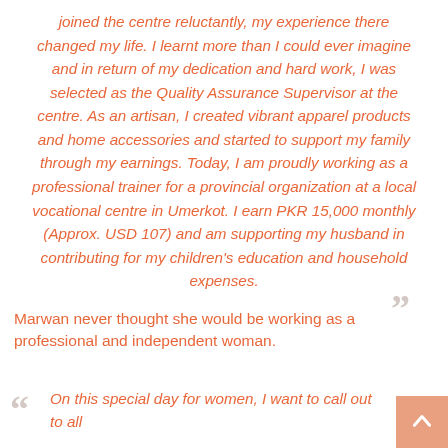joined the centre reluctantly, my experience there changed my life. I learnt more than I could ever imagine and in return of my dedication and hard work, I was selected as the Quality Assurance Supervisor at the centre. As an artisan, I created vibrant apparel products and home accessories and started to support my family through my earnings. Today, I am proudly working as a professional trainer for a provincial organization at a local vocational centre in Umerkot. I earn PKR 15,000 monthly (Approx. USD 107) and am supporting my husband in contributing for my children's education and household expenses.
Marwan never thought she would be working as a professional and independent woman.
On this special day for women, I want to call out to all